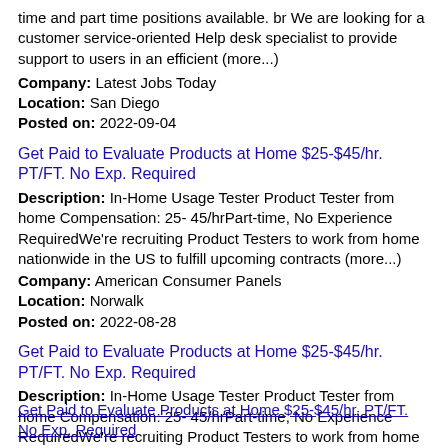time and part time positions available. br We are looking for a customer service-oriented Help desk specialist to provide support to users in an efficient (more...)
Company: Latest Jobs Today
Location: San Diego
Posted on: 2022-09-04
Get Paid to Evaluate Products at Home $25-$45/hr. PT/FT. No Exp. Required
Description: In-Home Usage Tester Product Tester from home Compensation: 25- 45/hrPart-time, No Experience RequiredWe're recruiting Product Testers to work from home nationwide in the US to fulfill upcoming contracts (more...)
Company: American Consumer Panels
Location: Norwalk
Posted on: 2022-08-28
Get Paid to Evaluate Products at Home $25-$45/hr. PT/FT. No Exp. Required
Description: In-Home Usage Tester Product Tester from home Compensation: 25- 45/hrPart-time, No Experience RequiredWe're recruiting Product Testers to work from home nationwide in the US to fulfill upcoming contracts (more...)
Company: American Consumer Panels
Location: Burbank
Posted on: 2022-09-04
Get Paid to Evaluate Products at Home $25-$45/hr. PT/FT. No Exp. Required